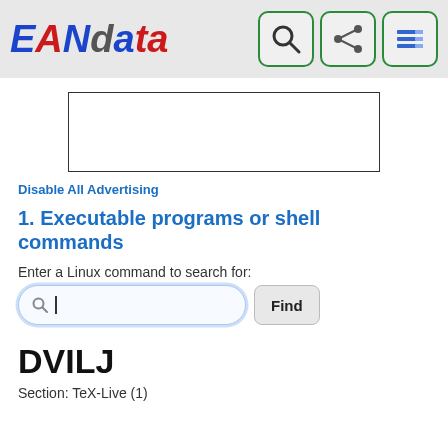EANdata
[Figure (screenshot): Advertisement box with black border]
Disable All Advertising
1. Executable programs or shell commands
Enter a Linux command to search for:
Find
DVILJ
Section: TeX-Live (1)